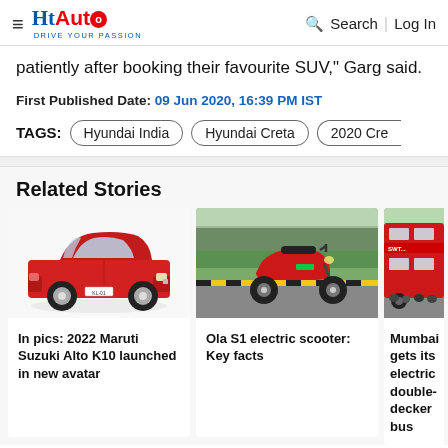HT Auto - Drive Your Passion | Search | Log In
patiently after booking their favourite SUV," Garg said.
First Published Date: 09 Jun 2020, 16:39 PM IST
TAGS: Hyundai India | Hyundai Creta | 2020 Cre
Related Stories
[Figure (photo): Red Maruti Suzuki Alto K10 hatchback car on white background]
In pics: 2022 Maruti Suzuki Alto K10 launched in new avatar
[Figure (photo): Ola S1 electric scooter parked on road with green bushes in background]
Ola S1 electric scooter: Key facts
[Figure (photo): Mumbai electric double-decker bus with crowd of people]
Mumbai gets its electric double-decker bus